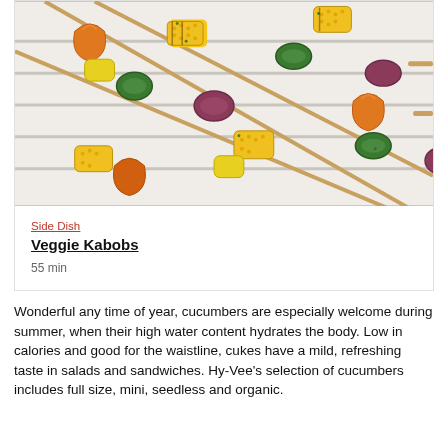[Figure (photo): Grilled vegetable kabobs with corn, zucchini, red onion, and bell peppers on a metal grill rack]
Side Dish
Veggie Kabobs
55 min
Wonderful any time of year, cucumbers are especially welcome during summer, when their high water content hydrates the body. Low in calories and good for the waistline, cukes have a mild, refreshing taste in salads and sandwiches. Hy-Vee's selection of cucumbers includes full size, mini, seedless and organic.